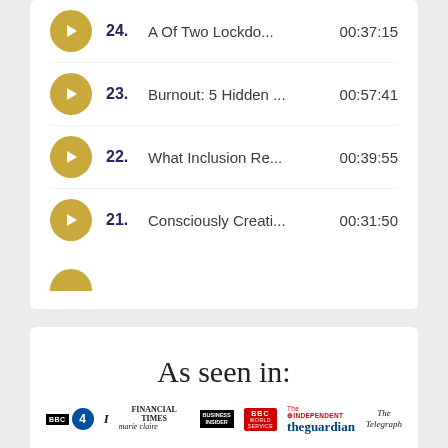24. A Of Two Lockdo... 00:37:15
23. Burnout: 5 Hidden ... 00:57:41
22. What Inclusion Re... 00:39:55
21. Consciously Creati... 00:31:50
As seen in:
[Figure (logo): Logos of BBC Radio 4, The Independent, Financial Times, Marie Claire, Business Insider, BBC World Service, The Guardian, The Telegraph]